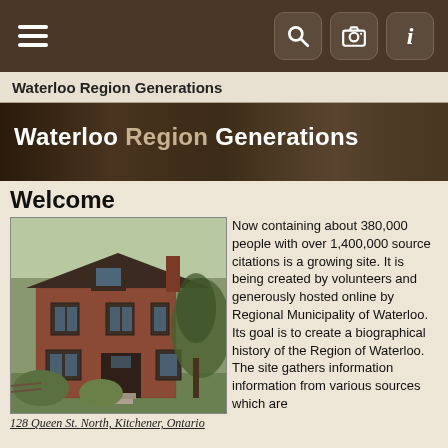Navigation bar with hamburger menu and search/camera/info icons
Waterloo Region Generations
[Figure (photo): Hero banner with text 'Waterloo Region Generations' overlaid on dark sepia-toned background with old family photographs]
Welcome
[Figure (photo): Photograph of 128 Queen St. North, Kitchener, Ontario - a two-storey red brick Victorian house with trees in the foreground]
128 Queen St. North, Kitchener, Ontario
Now containing about 380,000 people with over 1,400,000 source citations is a growing site. It is being created by volunteers and generously hosted online by Regional Municipality of Waterloo. Its goal is to create a biographical history of the Region of Waterloo. The site gathers information information from various sources which are